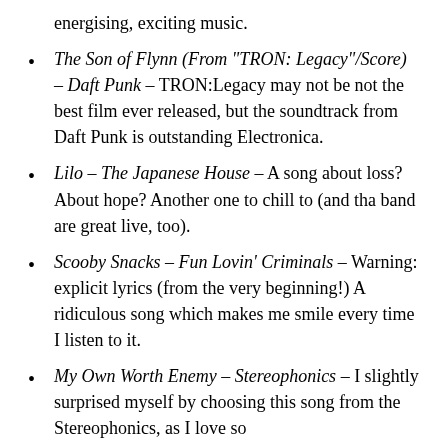energising, exciting music.
The Son of Flynn (From "TRON: Legacy"/Score) – Daft Punk – TRON:Legacy may not be not the best film ever released, but the soundtrack from Daft Punk is outstanding Electronica.
Lilo – The Japanese House – A song about loss? About hope? Another one to chill to (and tha band are great live, too).
Scooby Snacks – Fun Lovin' Criminals – Warning: explicit lyrics (from the very beginning!) A ridiculous song which makes me smile every time I listen to it.
My Own Worth Enemy – Stereophonics – I slightly surprised myself by choosing this song from the Stereophonics, as I love so